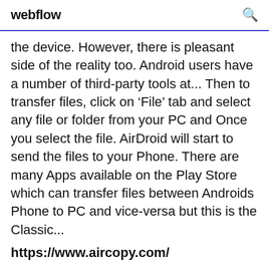webflow
the device. However, there is pleasant side of the reality too. Android users have a number of third-party tools at... Then to transfer files, click on 'File' tab and select any file or folder from your PC and Once you select the file. AirDroid will start to send the files to your Phone. There are many Apps available on the Play Store which can transfer files between Androids Phone to PC and vice-versa but this is the Classic...
https://www.aircopy.com/